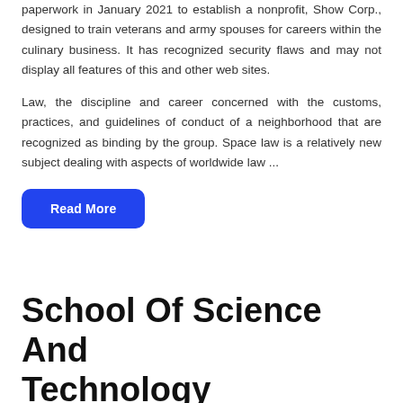paperwork in January 2021 to establish a nonprofit, Show Corp., designed to train veterans and army spouses for careers within the culinary business. It has recognized security flaws and may not display all features of this and other web sites.
Law, the discipline and career concerned with the customs, practices, and guidelines of conduct of a neighborhood that are recognized as binding by the group. Space law is a relatively new subject dealing with aspects of worldwide law ...
Read More
School Of Science And Technology